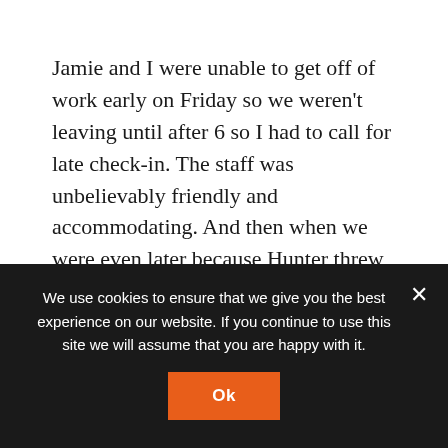Jamie and I were unable to get off of work early on Friday so we weren't leaving until after 6 so I had to call for late check-in. The staff was unbelievably friendly and accommodating. And then when we were even later because Hunter threw up in the car and we had to make a stop. They completely understood and even had fun joking with us about it.
We loved the fact that this campground was
We use cookies to ensure that we give you the best experience on our website. If you continue to use this site we will assume that you are happy with it.